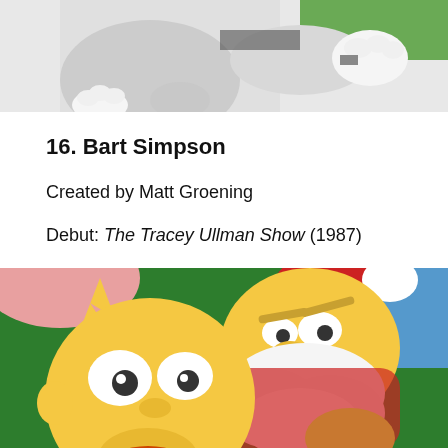[Figure (illustration): Top portion of an animated scene showing a character in white/grey outfit with gloved hands, partial view cropped at top]
16. Bart Simpson
Created by Matt Groening
Debut: The Tracey Ullman Show (1987)
[Figure (illustration): Animated scene from The Simpsons showing Bart Simpson (yellow character with spiky hair and large eyes) facing a man dressed as Santa Claus with white beard, set against a green Christmas tree background]